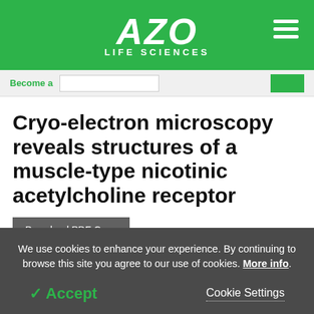AZO LIFE SCIENCES
Become a
Cryo-electron microscopy reveals structures of a muscle-type nicotinic acetylcholine receptor
Download PDF Copy
We use cookies to enhance your experience. By continuing to browse this site you agree to our use of cookies. More info.
✓ Accept
Cookie Settings